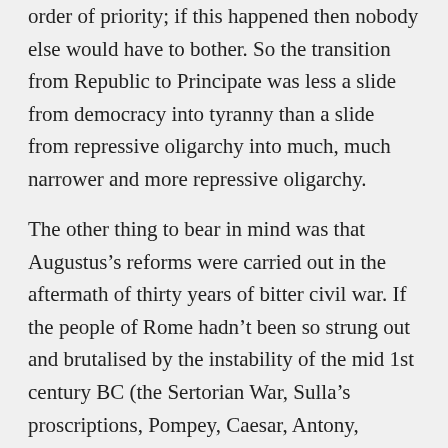order of priority; if this happened then nobody else would have to bother. So the transition from Republic to Principate was less a slide from democracy into tyranny than a slide from repressive oligarchy into much, much narrower and more repressive oligarchy.
The other thing to bear in mind was that Augustus's reforms were carried out in the aftermath of thirty years of bitter civil war. If the people of Rome hadn't been so strung out and brutalised by the instability of the mid 1st century BC (the Sertorian War, Sulla's proscriptions, Pompey, Caesar, Antony, Octavian) it is unlikely they would have acquiesced to his transformations. By the time Octavian was sole ruler it had become quite apparent that the Republic had failed to ensure stability, and was a system no longer fit for purpose. Those like Cato and Cicero who tried desperately to save the